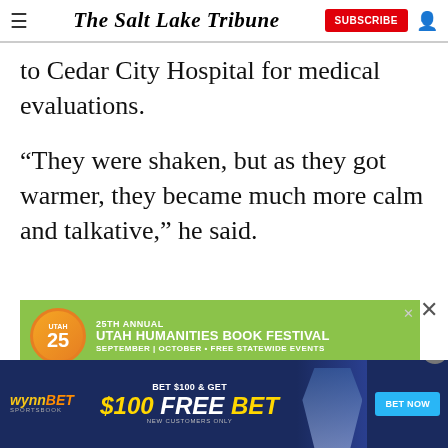The Salt Lake Tribune
to Cedar City Hospital for medical evaluations.
“They were shaken, but as they got warmer, they became much more calm and talkative,” he said.
[Figure (infographic): Advertisement: 25th Annual Utah Humanities Book Festival - September | October - Free Statewide Events]
[Figure (infographic): Advertisement: WynnBet Sportsbook - Bet $100 & Get $100 Free Bet - New Customers Only - Bet Now button]